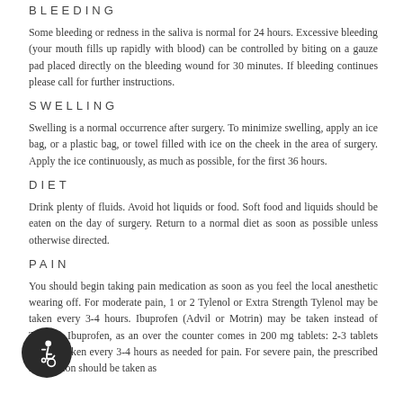BLEEDING
Some bleeding or redness in the saliva is normal for 24 hours. Excessive bleeding (your mouth fills up rapidly with blood) can be controlled by biting on a gauze pad placed directly on the bleeding wound for 30 minutes. If bleeding continues please call for further instructions.
SWELLING
Swelling is a normal occurrence after surgery. To minimize swelling, apply an ice bag, or a plastic bag, or towel filled with ice on the cheek in the area of surgery. Apply the ice continuously, as much as possible, for the first 36 hours.
DIET
Drink plenty of fluids. Avoid hot liquids or food. Soft food and liquids should be eaten on the day of surgery. Return to a normal diet as soon as possible unless otherwise directed.
PAIN
You should begin taking pain medication as soon as you feel the local anesthetic wearing off. For moderate pain, 1 or 2 Tylenol or Extra Strength Tylenol may be taken every 3-4 hours. Ibuprofen (Advil or Motrin) may be taken instead of Tylenol. Ibuprofen, as an over the counter comes in 200 mg tablets: 2-3 tablets may be taken every 3-4 hours as needed for pain. For severe pain, the prescribed medication should be taken as